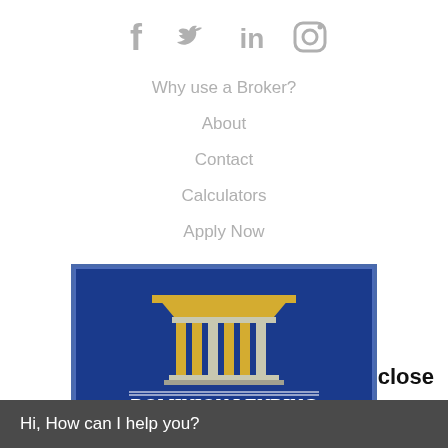[Figure (other): Social media icons: Facebook, Twitter, LinkedIn, Instagram in grey]
Why use a Broker?
About
Contact
Calculators
Apply Now
[Figure (logo): Dominion Lending Centres logo on blue background with classical building/columns icon and text 'Dominion Lending Centres' and partially visible cursive text below]
close
Hi, How can I help you?